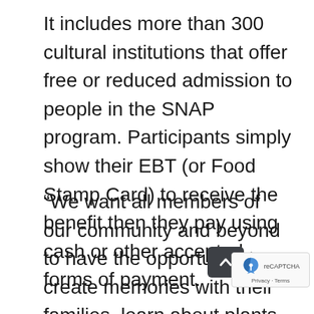It includes more than 300 cultural institutions that offer free or reduced admission to people in the SNAP program. Participants simply show their EBT (or Food Stamp Card) to receive the benefit then they pay using cash or other accepted forms of payment.
“We want all members of our community and beyond to have the opportunity to create memories with their families, learn about plants and experience the beauty of nature here at the Garden, hope that participating in this program...